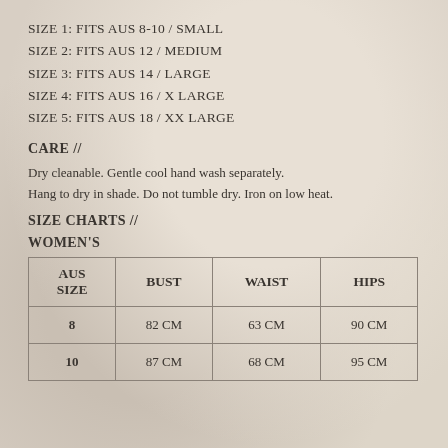SIZE 1: FITS AUS 8-10 / SMALL
SIZE 2: FITS AUS 12 / MEDIUM
SIZE 3: FITS AUS 14 / LARGE
SIZE 4: FITS AUS 16 / X LARGE
SIZE 5: FITS AUS 18 / XX LARGE
CARE //
Dry cleanable. Gentle cool hand wash separately. Hang to dry in shade. Do not tumble dry. Iron on low heat.
SIZE CHARTS //
WOMEN'S
| AUS SIZE | BUST | WAIST | HIPS |
| --- | --- | --- | --- |
| 8 | 82 CM | 63 CM | 90 CM |
| 10 | 87 CM | 68 CM | 95 CM |